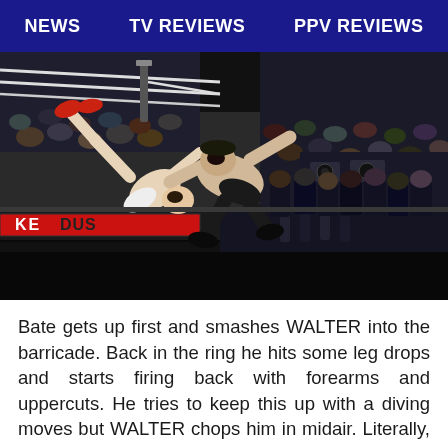NEWS   TV REVIEWS   PPV REVIEWS
[Figure (photo): Two professional wrestlers — one shirtless with red boots, the other in dark attire — colliding mid-air over the barricade at an NXT UK wrestling event. The crowd and ring ropes are visible in the background.]
Bate gets up first and smashes WALTER into the barricade. Back in the ring he hits some leg drops and starts firing back with forearms and uppercuts. He tries to keep this up with a diving moves but WALTER chops him in midair. Literally, WALTER just swats him away like a fly, and then applies a Boston